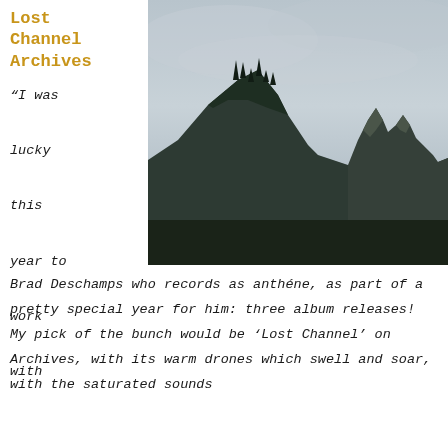Lost Channel Archives
[Figure (photo): Dramatic rocky mountain peaks covered with evergreen trees under an overcast grey sky, likely a fjord or coastal mountain landscape.]
“I was lucky this year to work with Brad Deschamps who records as anthéne, as part of a pretty special year for him: three album releases! My pick of the bunch would be ‘Lost Channel’ on Archives, with its warm drones which swell and soar, with the saturated sounds